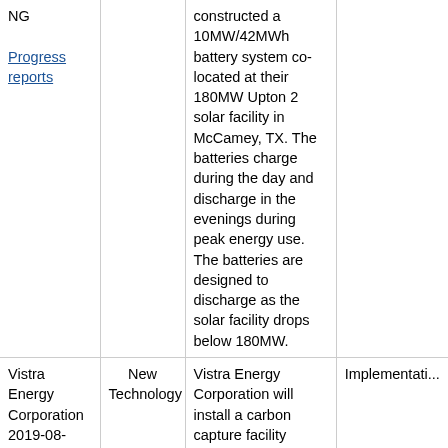|  |  |  |  |
| --- | --- | --- | --- |
| NG

Progress reports |  | constructed a 10MW/42MWh battery system co-located at their 180MW Upton 2 solar facility in McCamey, TX. The batteries charge during the day and discharge in the evenings during peak energy use. The batteries are designed to discharge as the solar facility drops below 180MW. |  |
| Vistra Energy Corporation 2019-08-0001-NG

Progress reports | New Technology | Vistra Energy Corporation will install a carbon capture facility located at Vistra's existing Col... | Implementation |